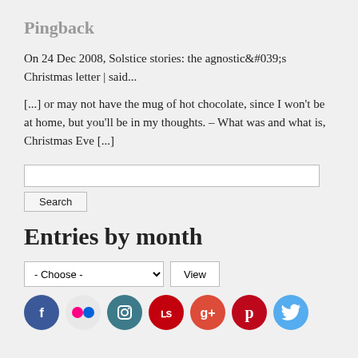Pingback
On 24 Dec 2008, Solstice stories: the agnostic&#039;s Christmas letter | said...
[...] or may not have the mug of hot chocolate, since I won't be at home, but you'll be in my thoughts. – What was and what is, Christmas Eve [...]
Search (input field and button)
Entries by month
- Choose - (dropdown) View (button)
[Figure (infographic): Social media icons row: Facebook (blue circle), Flickr (pink dots on grey), Instagram (teal circle), Last.fm (red circle), Google+ (orange-red circle), Pinterest (dark red circle), Twitter (light blue circle)]